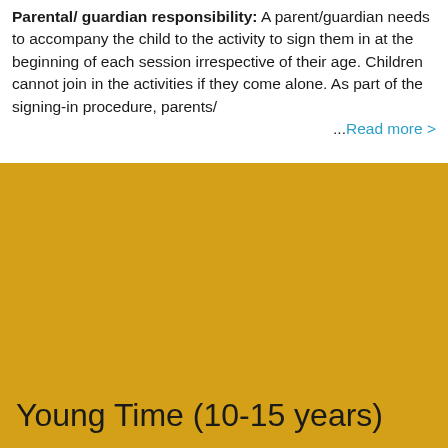Parental/ guardian responsibility: A parent/guardian needs to accompany the child to the activity to sign them in at the beginning of each session irrespective of their age. Children cannot join in the activities if they come alone. As part of the signing-in procedure, parents/ ...Read more >
Young Time (10-15 years)